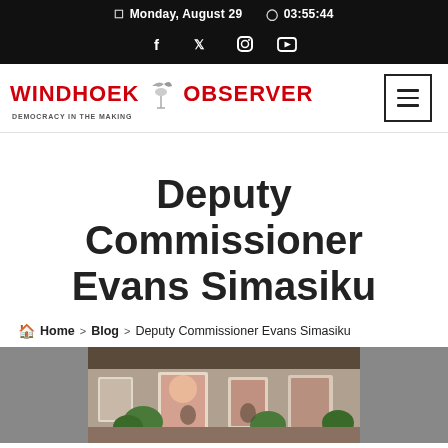Monday, August 29  03:55:44
Deputy Commissioner Evans Simasiku
Home > Blog > Deputy Commissioner Evans Simasiku
[Figure (photo): Photo of a memorial or display area with portraits/photos and greenery, indoor venue with folded tables]